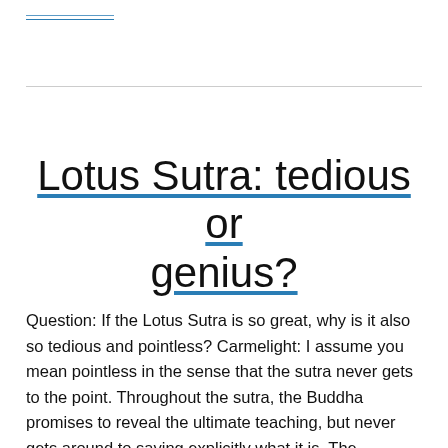Lotus Sutra: tedious or genius?
Question: If the Lotus Sutra is so great, why is it also so tedious and pointless? Carmelight: I assume you mean pointless in the sense that the sutra never gets to the point. Throughout the sutra, the Buddha promises to reveal the ultimate teaching, but never gets around to saying explicitly what it is. The